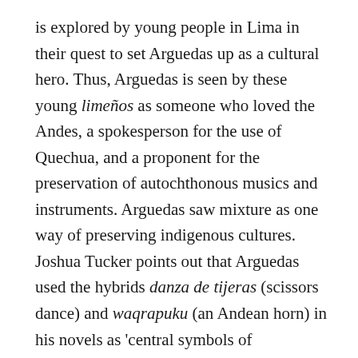is explored by young people in Lima in their quest to set Arguedas up as a cultural hero. Thus, Arguedas is seen by these young limeños as someone who loved the Andes, a spokesperson for the use of Quechua, and a proponent for the preservation of autochthonous musics and instruments. Arguedas saw mixture as one way of preserving indigenous cultures. Joshua Tucker points out that Arguedas used the hybrids danza de tijeras (scissors dance) and waqrapuku (an Andean horn) in his novels as 'central symbols of indigenous inventiveness and resistance' which were 'evidence of indigenous survival and creativity, rather than cultural alienation' (2011: 400). Fusion bands thus establish a connection to these ideas about Arguedas by singing in Quechua and expressing a desire to preserve